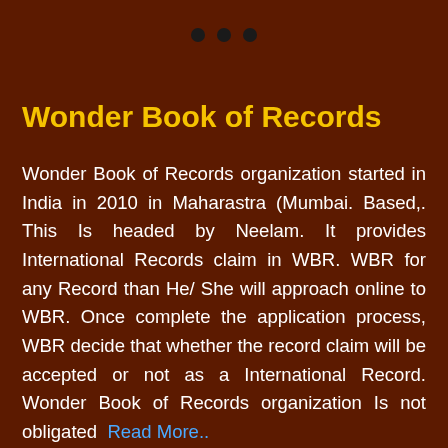[Figure (other): Three navigation dots at the top of the page, dark colored circles]
Wonder Book of Records
Wonder Book of Records organization started in India in 2010 in Maharastra (Mumbai. Based,. This Is headed by Neelam. It provides International Records claim in WBR. WBR for any Record than He/ She will approach online to WBR. Once complete the application process, WBR decide that whether the record claim will be accepted or not as a International Record. Wonder Book of Records organization Is not obligated Read More..